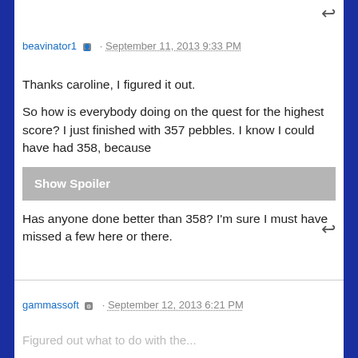beavinator1 · September 11, 2013 9:33 PM
Thanks caroline, I figured it out.

So how is everybody doing on the quest for the highest score? I just finished with 357 pebbles. I know I could have had 358, because
Show Spoiler
Has anyone done better than 358? I'm sure I must have missed a few here or there.
gammassoft · September 12, 2013 6:21 PM
Figured out what to do with the...